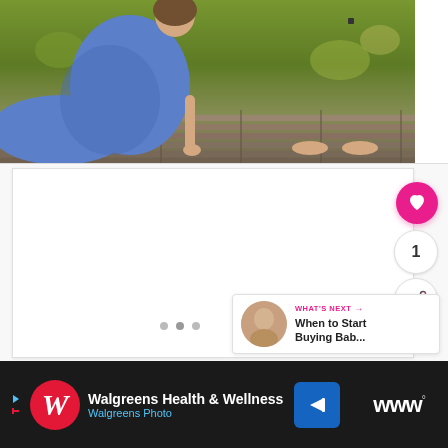[Figure (photo): Pregnant woman in blue dress sitting on a wooden dock near water with green foliage in background]
[Figure (screenshot): Web page content area with white background, slideshow dots at bottom, like button (pink circle with heart), count bubble showing 1, share button, and 'What's Next' panel showing thumbnail and text 'When to Start Buying Bab...']
[Figure (photo): Advertisement banner: Walgreens Health & Wellness / Walgreens Photo with red W logo, blue navigation arrow icon, and dark right panel with W° logo]